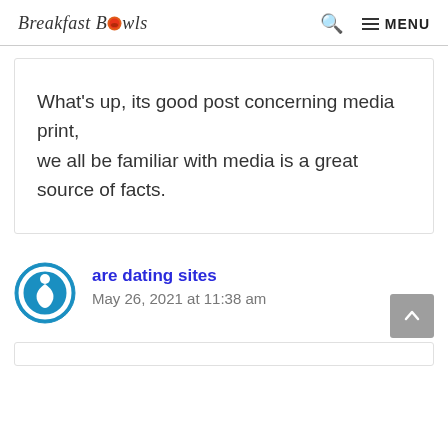Breakfast Bowls  🔍  ≡ MENU
What's up, its good post concerning media print,
we all be familiar with media is a great source of facts.
are dating sites
May 26, 2021 at 11:38 am